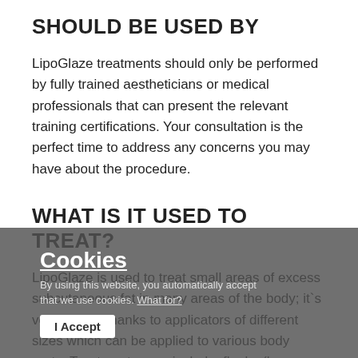SHOULD BE USED BY
LipoGlaze treatments should only be performed by fully trained aestheticians or medical professionals that can present the relevant training certifications. Your consultation is the perfect time to address any concerns you may have about the procedure.
WHAT IS IT USED TO TREAT?
LipoGlaze is used to treat small areas of excess subcutaneous fat in many areas of the body; it`s versatility is thanks to applicators of different sizes which can be applied to various body parts. Treatment areas include: flanks (love handles), abdomen, upper arms, saddlebags, thighs (inner and outer), buttocks, back fat (bra bulges), gynaecomastia (man boobs), knees and double chins.